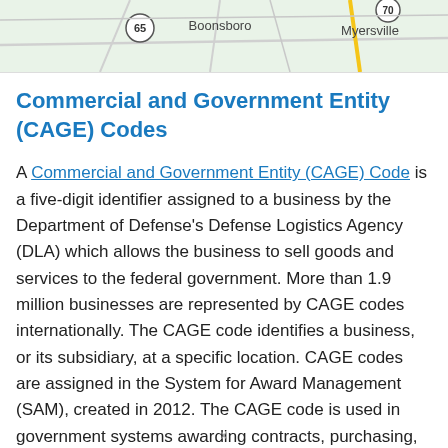[Figure (map): A partial road map showing Boonsboro and Myersville areas with route markers 65 and 70]
Commercial and Government Entity (CAGE) Codes
A Commercial and Government Entity (CAGE) Code is a five-digit identifier assigned to a business by the Department of Defense's Defense Logistics Agency (DLA) which allows the business to sell goods and services to the federal government. More than 1.9 million businesses are represented by CAGE codes internationally. The CAGE code identifies a business, or its subsidiary, at a specific location. CAGE codes are assigned in the System for Award Management (SAM), created in 2012. The CAGE code is used in government systems awarding contracts, purchasing, or for security purposes.